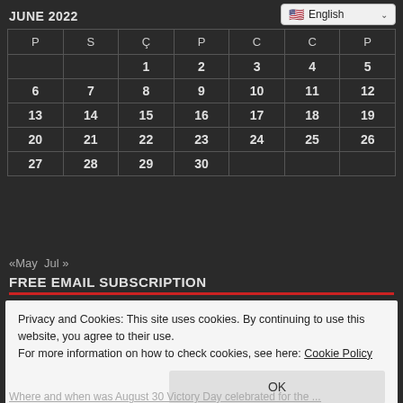English (language selector)
JUNE 2022
| P | S | Ç | P | C | C | P |
| --- | --- | --- | --- | --- | --- | --- |
|  |  | 1 | 2 | 3 | 4 | 5 |
| 6 | 7 | 8 | 9 | 10 | 11 | 12 |
| 13 | 14 | 15 | 16 | 17 | 18 | 19 |
| 20 | 21 | 22 | 23 | 24 | 25 | 26 |
| 27 | 28 | 29 | 30 |  |  |  |
«May  Jul »
FREE EMAIL SUBSCRIPTION
Privacy and Cookies: This site uses cookies. By continuing to use this website, you agree to their use.
For more information on how to check cookies, see here: Cookie Policy
OK
Where and when was August 30 Victory Day celebrated for the ...